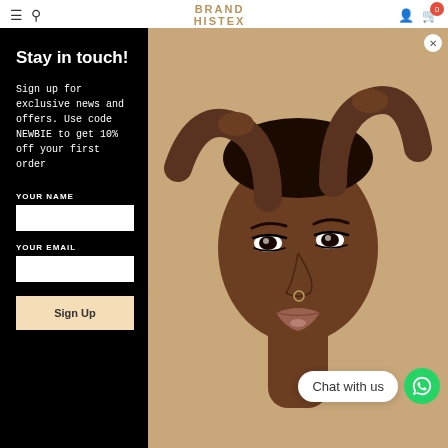[Figure (screenshot): Website navigation bar with hamburger menu, search icon, brand name 'BRAND HISTEX', account icon, and cart with badge showing 0]
Stay in touch!
Sign up for exclusive news and offers. Use code NEWBIE to get 10% off your first order
YOUR NAME
YOUR EMAIL
Sign Up
[Figure (photo): Fashion/beauty model with dark skin, dramatic eye makeup, nose ring, hands raised behind head, on beige background]
Chat with us
[Figure (logo): WhatsApp chat icon - green circle with white speech bubble]
NATURED
Sold Out